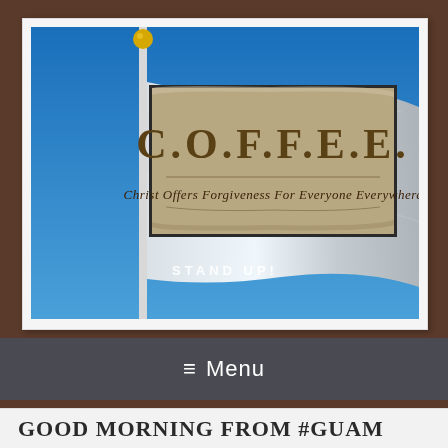[Figure (photo): Website screenshot showing a photo of a flag pole with a white flag and blue flag against a blue sky, with an embedded image of a carved stone or wood sign reading 'C.O.F.F.E.E. Christ Offers Forgiveness For Everyone Everywhere', and text 'STAND UP!' overlaid on the image]
≡  Menu
GOOD MORNING FROM #GUAM